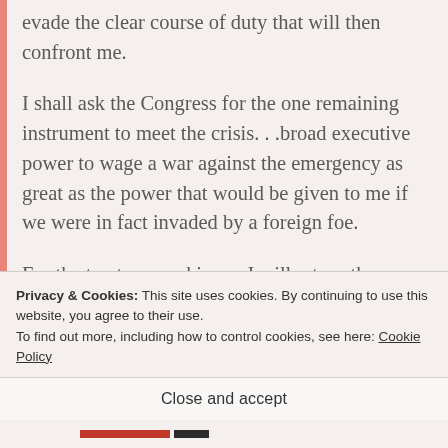evade the clear course of duty that will then confront me.
I shall ask the Congress for the one remaining instrument to meet the crisis...broad executive power to wage a war against the emergency as great as the power that would be given to me if we were in fact invaded by a foreign foe.
For the trust reposed in me I will return the courage and the devotion that befit the time. I can
Privacy & Cookies: This site uses cookies. By continuing to use this website, you agree to their use.
To find out more, including how to control cookies, see here: Cookie Policy
Close and accept